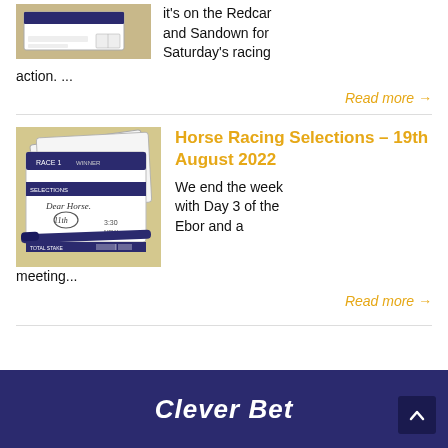[Figure (photo): Partial photo of a betting slip or form on a table, mostly cropped, top of page]
it's on the Redcar and Sandown for Saturday's racing action. ...
Read more →
[Figure (photo): Photo of horse racing betting slips with handwritten notes and a blue pen on top]
Horse Racing Selections – 19th August 2022
We end the week with Day 3 of the Ebor and a meeting...
Read more →
Clever Bet